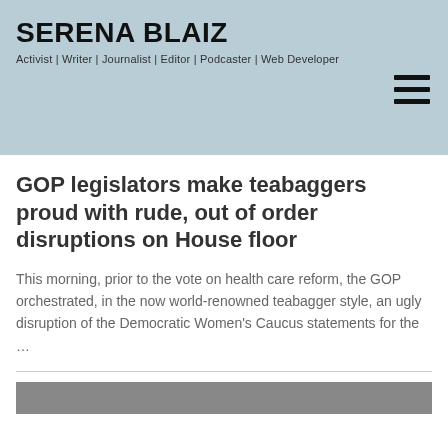SERENA BLAIZ
Activist | Writer | Journalist | Editor | Podcaster | Web Developer
GOP legislators make teabaggers proud with rude, out of order disruptions on House floor
This morning, prior to the vote on health care reform, the GOP orchestrated, in the now world-renowned teabagger style, an ugly disruption of the Democratic Women's Caucus statements for the …